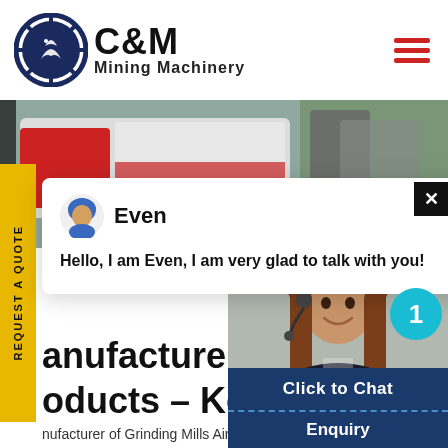[Figure (logo): C&M Mining Machinery logo with eagle/gear icon and bold text]
[Figure (photo): Hero image showing industrial truck/machinery in outdoor setting]
REQUEST A QUOTE
[Figure (screenshot): Chat popup with avatar of Even, showing message: Hello, I am Even, I am very glad to talk with you!]
anufacturer of grindin oducts - Kefid Machine
nufacturer of Grinding Mills Air C Mill, Universal Grinding Mill offered b Limited, Pune, Maharashtra Manufa Equipment Ultrafine Grinding Vsun
[Figure (photo): Customer service woman with headset]
Click to Chat
Enquiry